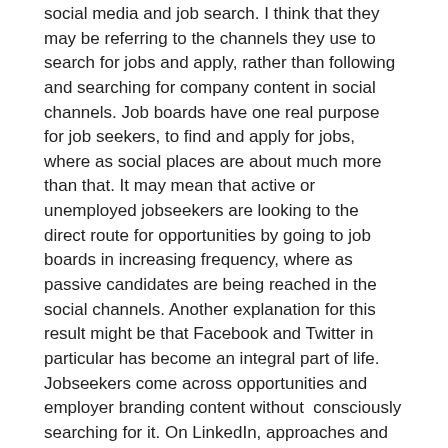social media and job search. I think that they may be referring to the channels they use to search for jobs and apply, rather than following and searching for company content in social channels. Job boards have one real purpose for job seekers, to find and apply for jobs, where as social places are about much more than that. It may mean that active or unemployed jobseekers are looking to the direct route for opportunities by going to job boards in increasing frequency, where as passive candidates are being reached in the social channels. Another explanation for this result might be that Facebook and Twitter in particular has become an integral part of life. Jobseekers come across opportunities and employer branding content without  consciously searching for it. On LinkedIn, approaches and jobs are likely to come directly from recruiters, recommendations or shares. It may be that jobseekers no longer feel the need to proactively search, when opportunities come to them based on their profile.
Interestingly, companies reported a slight increase in the use of social networking, although they also recorded a much greater reliance on personal networks for hiring. Personal networks are closely linked to social networks, in particular LinkedIn.
The number of candidates sending speculative CV's direct to companies rose by  9%. Most corporate companies do not have a